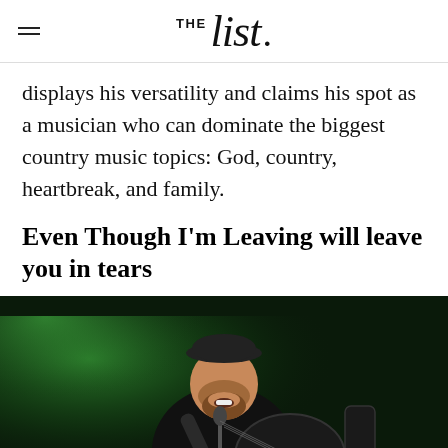THE list.
displays his versatility and claims his spot as a musician who can dominate the biggest country music topics: God, country, heartbreak, and family.
Even Though I'm Leaving will leave you in tears
[Figure (photo): Country music artist performing on stage, playing a black acoustic guitar and singing into a microphone, wearing a black cap and dark shirt, with green stage lighting in the background]